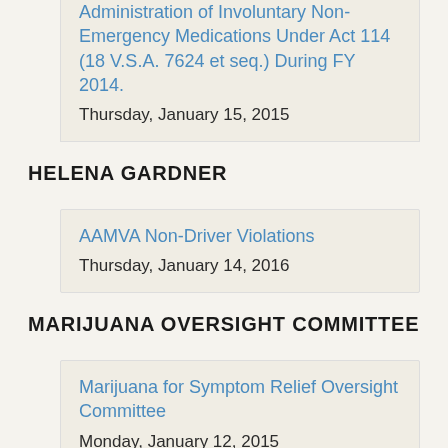Administration of Involuntary Non-Emergency Medications Under Act 114 (18 V.S.A. 7624 et seq.) During FY 2014.
Thursday, January 15, 2015
HELENA GARDNER
AAMVA Non-Driver Violations
Thursday, January 14, 2016
MARIJUANA OVERSIGHT COMMITTEE
Marijuana for Symptom Relief Oversight Committee
Monday, January 12, 2015
PUBLIC RECORDS STUDY COMMITTEE
Public Records Study Committee